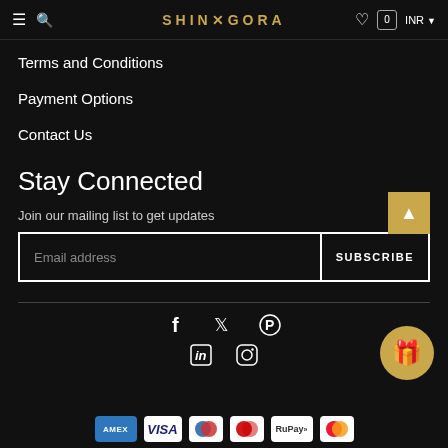SHINGORA
Terms and Conditions
Payment Options
Contact Us
Stay Connected
Join our mailing list to get updates
Email address
SUBSCRIBE
[Figure (screenshot): Social media icons: Facebook, Twitter, Pinterest, LinkedIn, Instagram]
[Figure (screenshot): Payment method logos: AMEX, VISA, Diners, Maestro, RuPay, Mastercard]